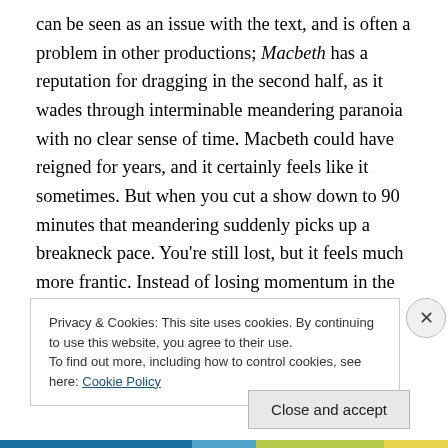can be seen as an issue with the text, and is often a problem in other productions; Macbeth has a reputation for dragging in the second half, as it wades through interminable meandering paranoia with no clear sense of time. Macbeth could have reigned for years, and it certainly feels like it sometimes. But when you cut a show down to 90 minutes that meandering suddenly picks up a breakneck pace. You're still lost, but it feels much more frantic. Instead of losing momentum in the wake of his ascendency, our Macbeth gains it, hardly taking his seat on the throne before he begins to worry about the threat
Privacy & Cookies: This site uses cookies. By continuing to use this website, you agree to their use.
To find out more, including how to control cookies, see here: Cookie Policy